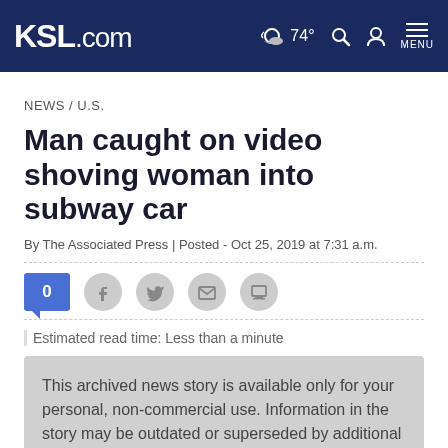KSL.com | 74° | Search | Account | MENU
NEWS / U.S.
Man caught on video shoving woman into subway car
By The Associated Press | Posted - Oct 25, 2019 at 7:31 a.m.
[Figure (infographic): Social sharing icons row: comment badge showing 0, Facebook, Twitter, Email, Print]
Estimated read time: Less than a minute
This archived news story is available only for your personal, non-commercial use. Information in the story may be outdated or superseded by additional information. Reading or replaying the story in its